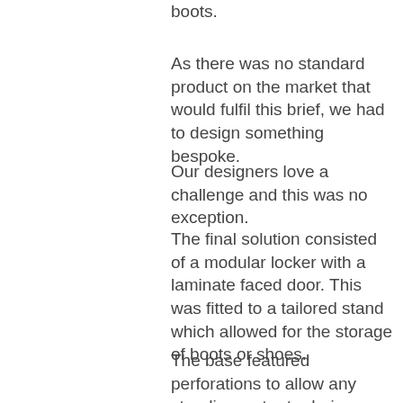boots.
As there was no standard product on the market that would fulfil this brief, we had to design something bespoke.
Our designers love a challenge and this was no exception.
The final solution consisted of a modular locker with a laminate faced door. This was fitted to a tailored stand which allowed for the storage of boots or shoes.
The base featured perforations to allow any standing water to drain away. As the locker was to be below a window, we supplied a solid grade